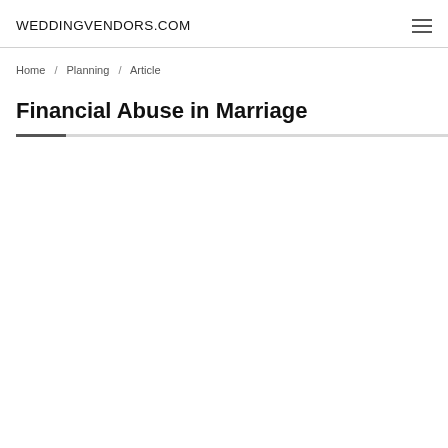WEDDINGVENDORS.COM
Home / Planning / Article
Financial Abuse in Marriage